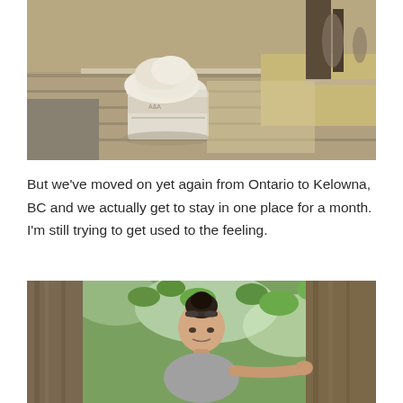[Figure (photo): Photo of an ice cream in a paper cup sitting on a weathered wooden picnic table in sunlight, with sandy ground and people visible in the background.]
But we've moved on yet again from Ontario to Kelowna, BC and we actually get to stay in one place for a month. I'm still trying to get used to the feeling.
[Figure (photo): Photo of a young woman with dark hair in a bun and sunglasses on her head, standing between two large tree trunks with green leafy trees in the background.]